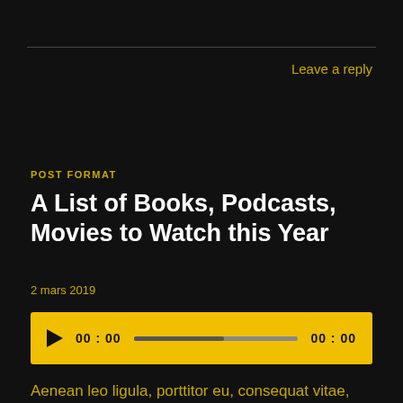Leave a reply
POST FORMAT
A List of Books, Podcasts, Movies to Watch this Year
2 mars 2019
[Figure (other): Audio player widget with play button, time display 00:00, progress bar, and end time 00:00 on a yellow background]
Aenean leo ligula, porttitor eu, consequat vitae, eleifend ac, enim. Aliquam lorem ante, dapibus in, viverra quis,